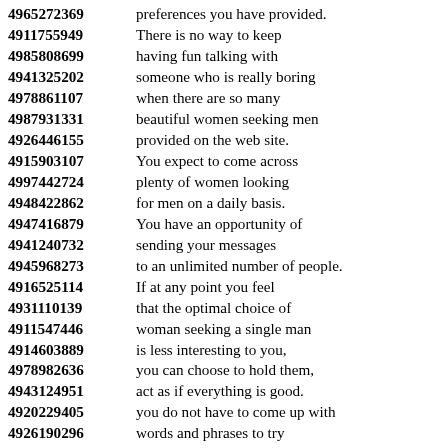4965272369 preferences you have provided.
4911755949 There is no way to keep
4985808699 having fun talking with
4941325202 someone who is really boring
4978861107 when there are so many
4987931331 beautiful women seeking men
4926446155 provided on the web site.
4915903107 You expect to come across
4997442724 plenty of women looking
4948422862 for men on a daily basis.
4947416879 You have an opportunity of
4941240732 sending your messages
4945968273 to an unlimited number of people.
4916525114 If at any point you feel
4931110139 that the optimal choice of
4911547446 woman seeking a single man
4914603889 is less interesting to you,
4978982636 you can choose to hold them,
4943124951 act as if everything is good.
4920229405 you do not have to come up with
4926190296 words and phrases to try
4985319357 the interest of women and girls.
4984819255 Identify potential partners
4931219932 system based on the experiences
4923519501 depending on the results of
4984379135 ...